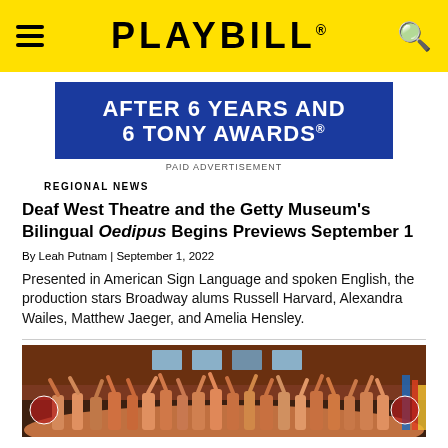PLAYBILL
[Figure (screenshot): Advertisement banner with dark blue background reading 'AFTER 6 YEARS AND 6 TONY AWARDS®' in large white bold uppercase text]
PAID ADVERTISEMENT
REGIONAL NEWS
Deaf West Theatre and the Getty Museum's Bilingual Oedipus Begins Previews September 1
By Leah Putnam | September 1, 2022
Presented in American Sign Language and spoken English, the production stars Broadway alums Russell Harvard, Alexandra Wailes, Matthew Jaeger, and Amelia Hensley.
[Figure (photo): Theater cast photo showing a large group of performers on stage with raised fists, in front of a brick wall backdrop]